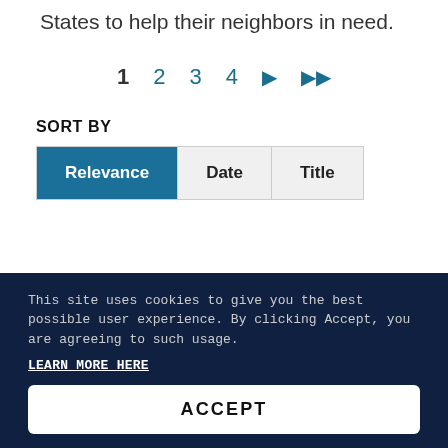States to help their neighbors in need.
1  2  3  4  ▶  ▶▶
SORT BY
Relevance | Date | Title
This site uses cookies to give you the best possible user experience.  By clicking Accept, you are agreeing to such usage.
LEARN MORE HERE
ACCEPT